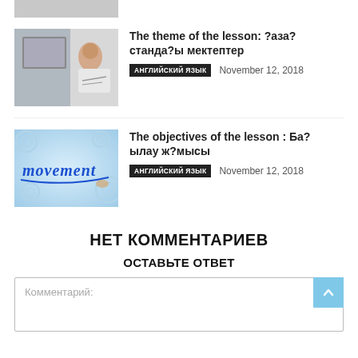[Figure (photo): Partial image of person writing with laptop visible (cropped at top)]
The theme of the lesson: ?аза? станда?ы мектептер
АНГЛИЙСКИЙ ЯЗЫК   November 12, 2018
[Figure (illustration): Blue background with gear icons and text 'movement' written in blue italic]
The objectives of the lesson : Ба? ылау ж?мысы
АНГЛИЙСКИЙ ЯЗЫК   November 12, 2018
НЕТ КОММЕНТАРИЕВ
ОСТАВЬТЕ ОТВЕТ
Комментарий: